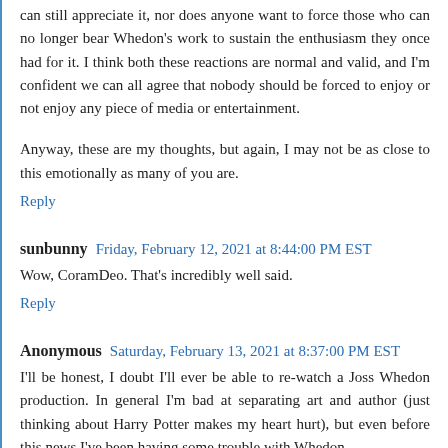can still appreciate it, nor does anyone want to force those who can no longer bear Whedon's work to sustain the enthusiasm they once had for it. I think both these reactions are normal and valid, and I'm confident we can all agree that nobody should be forced to enjoy or not enjoy any piece of media or entertainment.
Anyway, these are my thoughts, but again, I may not be as close to this emotionally as many of you are.
Reply
sunbunny  Friday, February 12, 2021 at 8:44:00 PM EST
Wow, CoramDeo. That's incredibly well said.
Reply
Anonymous  Saturday, February 13, 2021 at 8:37:00 PM EST
I'll be honest, I doubt I'll ever be able to re-watch a Joss Whedon production. In general I'm bad at separating art and author (just thinking about Harry Potter makes my heart hurt), but even before this news I've been having some trouble with Whedon.
He tends to write jealous and insecure men (Tony Stark, Mal,